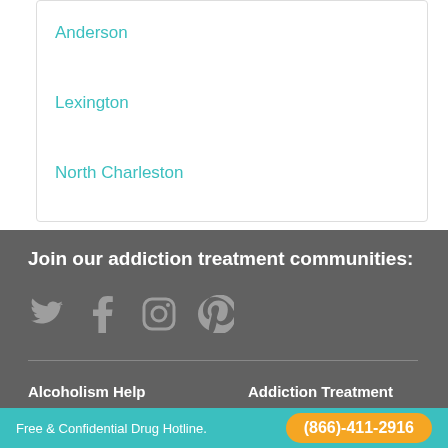Anderson
Lexington
North Charleston
Join our addiction treatment communities:
[Figure (infographic): Social media icons: Twitter bird, Facebook f, Instagram camera, Pinterest P]
Alcoholism Help
Addiction Treatment
Free & Confidential Drug Hotline.  (866)-411-2916